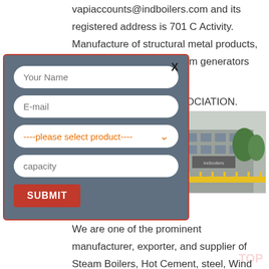vapiaccounts@indboilers.com and its registered address is 701 C Activity. Manufacture of structural metal products, tanks, reservoirs and steam generators INDIAN BOILERS
OCIATION.
ew More
[Figure (screenshot): A modal/popup form with fields: Your Name, E-mail, a product dropdown (----please select product----), capacity, and a SUBMIT button. The modal has a blue-gray background with a red border and an X close button.]
[Figure (photo): A building exterior photo showing a gray structure with yellow fencing and greenery.]
| Pune
We are one of the prominent manufacturer, exporter, and supplier of Steam Boilers, Hot Cement, steel, Wind Turbine Manufacturers